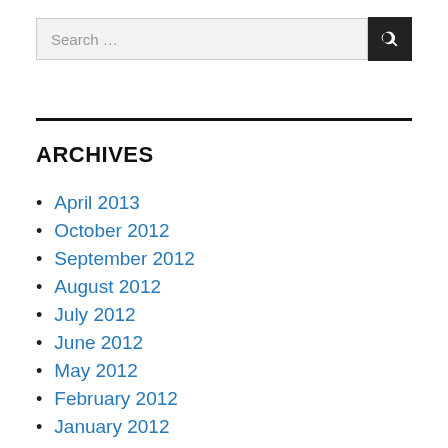Search …
ARCHIVES
April 2013
October 2012
September 2012
August 2012
July 2012
June 2012
May 2012
February 2012
January 2012